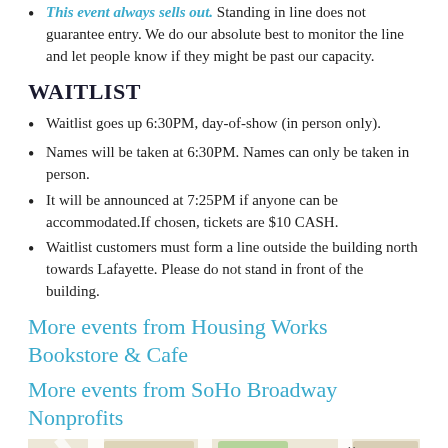This event always sells out. Standing in line does not guarantee entry. We do our absolute best to monitor the line and let people know if they might be past our capacity.
WAITLIST
Waitlist goes up 6:30PM, day-of-show (in person only).
Names will be taken at 6:30PM. Names can only be taken in person.
It will be announced at 7:25PM if anyone can be accommodated.If chosen, tickets are $10 CASH.
Waitlist customers must form a line outside the building north towards Lafayette. Please do not stand in front of the building.
More events from Housing Works Bookstore & Cafe
More events from SoHo Broadway Nonprofits
[Figure (map): Google Maps view showing W Houston St, Bleecker St M station, Levain Bakery - NoHo marker, and surrounding SoHo/NoHo area streets.]